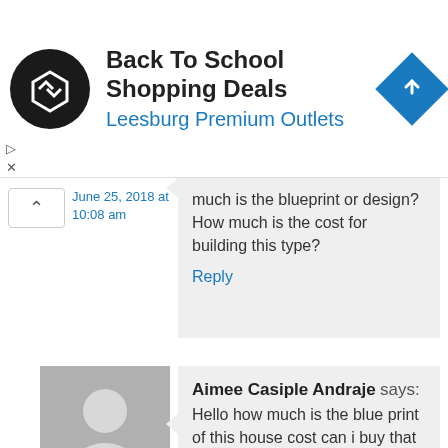[Figure (screenshot): Ad banner: Back To School Shopping Deals at Leesburg Premium Outlets with logo and navigation icon]
much is the blueprint or design? How much is the cost for building this type?
Reply
June 25, 2018 at 10:08 am
[Figure (illustration): Generic user avatar placeholder (grey silhouette)]
September 16, 2018 at 2:43 pm
Aimee Casiple Andraje says: Hello how much is the blue print of this house cost can i buy that from you. If we have a 200sqM floor plan and make the ceiling a little bit higher how much